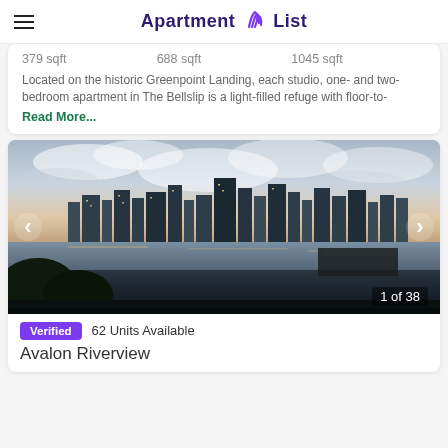Apartment List
379 sqft   688 sqft   1045 sqft
Located on the historic Greenpoint Landing, each studio, one- and two-bedroom apartment in The Bellslip is a light-filled refuge with floor-to-
Read More...
[Figure (photo): City skyline at dusk viewed across a river, with clouds in the sky and waterfront in the foreground. Shows '1 of 38' counter and navigation arrows.]
Verified   62 Units Available
Avalon Riverview